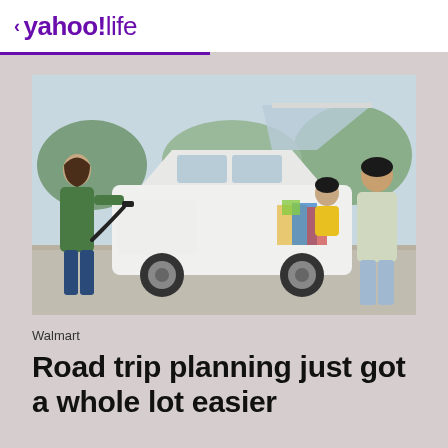< yahoo!life
[Figure (photo): A family at a gas station loading groceries into the trunk of a white SUV. A woman in a green jacket pumps gas on the left, while a man in a light green jacket and a child look into the open trunk filled with Walmart grocery bags on the right.]
Walmart
Road trip planning just got a whole lot easier